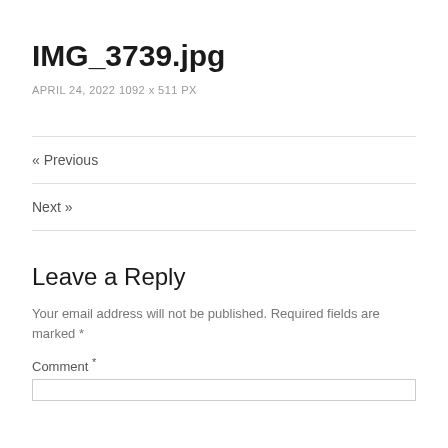IMG_3739.jpg
APRIL 24, 2022 1092 x 511 PX
« Previous
Next »
Leave a Reply
Your email address will not be published. Required fields are marked *
Comment *